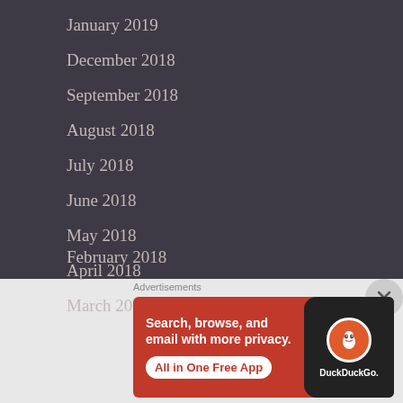January 2019
December 2018
September 2018
August 2018
July 2018
June 2018
May 2018
April 2018
March 2018
February 2018
Advertisements
[Figure (infographic): DuckDuckGo advertisement banner: Search, browse, and email with more privacy. All in One Free App. Shows DuckDuckGo logo on a phone on dark background.]